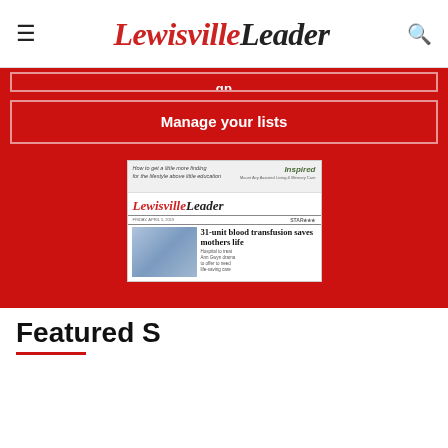Lewisville Leader
Manage your lists
[Figure (photo): Lewisville Leader newspaper front page thumbnail showing headline '31-unit blood transfusion saves mothers life']
Featured Stories
[Figure (photo): Football game photo showing players on field with scoreboard showing 40]
[Figure (map): Top Videos: Flood risk for the South - Weather map showing rainfall through Thursday with colored precipitation overlay across southern United States]